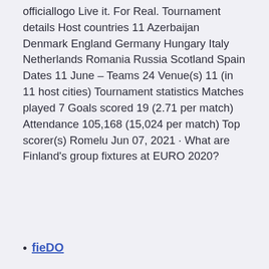officiallogo Live it. For Real. Tournament details Host countries 11 Azerbaijan Denmark England Germany Hungary Italy Netherlands Romania Russia Scotland Spain Dates 11 June – Teams 24 Venue(s) 11 (in 11 host cities) Tournament statistics Matches played 7 Goals scored 19 (2.71 per match) Attendance 105,168 (15,024 per match) Top scorer(s) Romelu Jun 07, 2021 · What are Finland's group fixtures at EURO 2020?
fieDO